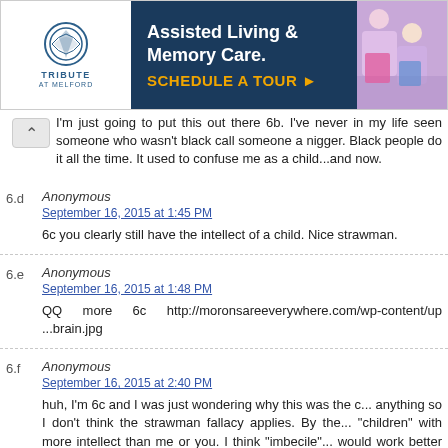[Figure (other): Advertisement banner for Tribute at Melford assisted living and memory care facility. Dark blue background with white text 'Assisted Living & Memory Care.' and gold text 'SCHEDULE A TOUR ▸'. Logo on left with circular emblem and 'TRIBUTE AT MELFORD' text. Photo of students on right.]
I'm just going to put this out there 6b. I've never in my life seen someone who wasn't black call someone a nigger. Black people do it all the time. It used to confuse me as a child...and now.
6.d
Anonymous
September 16, 2015 at 1:45 PM
6c you clearly still have the intellect of a child. Nice strawman.
6.e
Anonymous
September 16, 2015 at 1:48 PM
QQ more 6c http://moronsareeverywhere.com/wp-content/up...brain.jpg
6.f
Anonymous
September 16, 2015 at 2:40 PM
huh, I'm 6c and I was just wondering why this was the c... anything so I don't think the strawman fallacy applies. By the... "children" with more intellect than me or you. I think "imbecile"... would work better there.
7